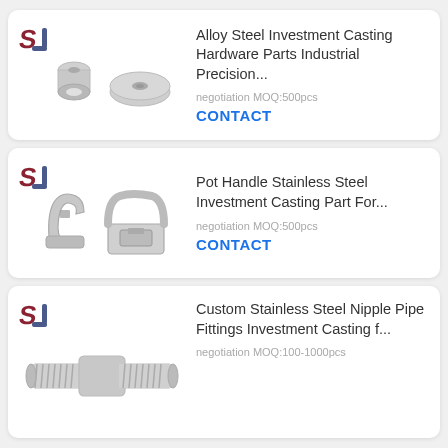[Figure (screenshot): Product listing card 1: Logo and photo of alloy steel investment casting hardware parts (two metal disc/bushing shapes), with title, MOQ, and contact button]
Alloy Steel Investment Casting Hardware Parts Industrial Precision...
negotiation MOQ:500pcs
CONTACT
[Figure (screenshot): Product listing card 2: Logo and photo of pot handle stainless steel investment casting parts (two metal bracket/clip shapes), with title, MOQ, and contact button]
Pot Handle Stainless Steel Investment Casting Part For...
negotiation MOQ:500pcs
CONTACT
[Figure (screenshot): Product listing card 3: Logo and photo of custom stainless steel nipple pipe fittings investment casting (threaded pipe fitting), with title and MOQ]
Custom Stainless Steel Nipple Pipe Fittings Investment Casting f...
negotiation MOQ:100-1000pcs